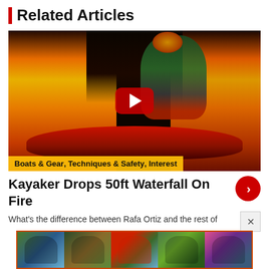Related Articles
[Figure (photo): Video thumbnail showing a kayaker on fire dropping a waterfall, with flames on either side. A red YouTube play button overlay is centered. Tag bar reads 'Boats & Gear, Techniques & Safety, Interest'.]
Kayaker Drops 50ft Waterfall On Fire
What's the difference between Rafa Ortiz and the rest of
[Figure (photo): A horizontal strip of five thumbnail images showing various kayaking and paddling scenes.]